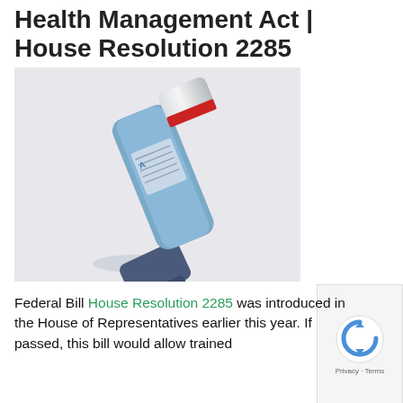Health Management Act | House Resolution 2285
[Figure (photo): A blue asthma inhaler photographed at an angle against a light grey background. The inhaler has a silver and red cap on top and a darker blue mouthpiece at the bottom.]
Federal Bill House Resolution 2285 was introduced in the House of Representatives earlier this year. If passed, this bill would allow trained